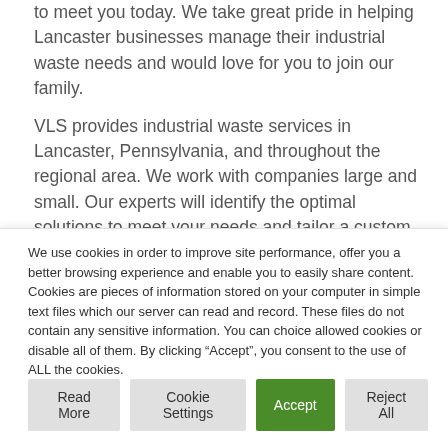to meet you today. We take great pride in helping Lancaster businesses manage their industrial waste needs and would love for you to join our family.

VLS provides industrial waste services in Lancaster, Pennsylvania, and throughout the regional area. We work with companies large and small. Our experts will identify the optimal solutions to meet your needs and tailor a custom program that delivers the maximum
We use cookies in order to improve site performance, offer you a better browsing experience and enable you to easily share content. Cookies are pieces of information stored on your computer in simple text files which our server can read and record. These files do not contain any sensitive information. You can choice allowed cookies or disable all of them. By clicking “Accept”, you consent to the use of ALL the cookies.